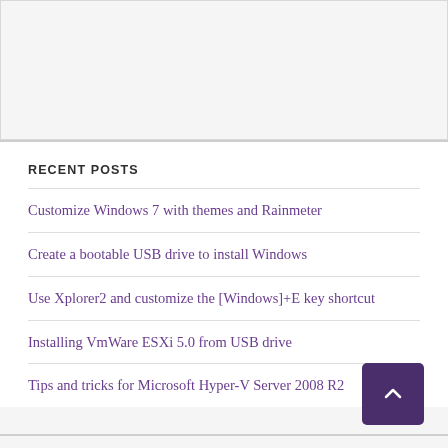[Figure (other): Gray placeholder/advertisement area at the top of the page]
RECENT POSTS
Customize Windows 7 with themes and Rainmeter
Create a bootable USB drive to install Windows
Use Xplorer2 and customize the [Windows]+E key shortcut
Installing VmWare ESXi 5.0 from USB drive
Tips and tricks for Microsoft Hyper-V Server 2008 R2